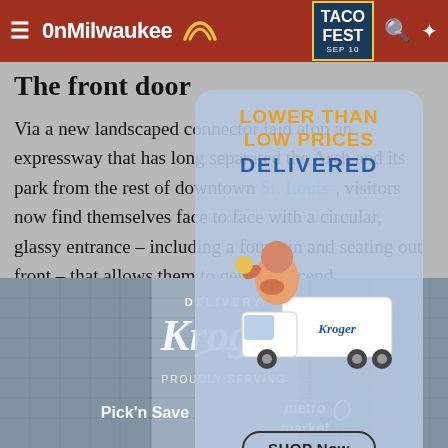OnMilwaukee  ≡  TACO FEST SEP 10
The front door
Via a new landscaped connector laid atop an expressway that has long separated the Arch and its park from the rest of downtown St. Louis, visitors now find themselves face to face with a circular, glassy entrance – including a fountain and seating out front – that allows them to gently descend underground into the welcome center.
[Figure (photo): Advertisement overlay: Kroger Delivery – Lower Than Low Prices Delivered. Shop Now button. Kroger character mascot with delivery truck.]
[Figure (photo): Photo of a modern glass building entrance showing Kroger Delivery branding, with text: DELIVERY, Kroger, PROUDLY SERVING, Pick'n Save, metro market]